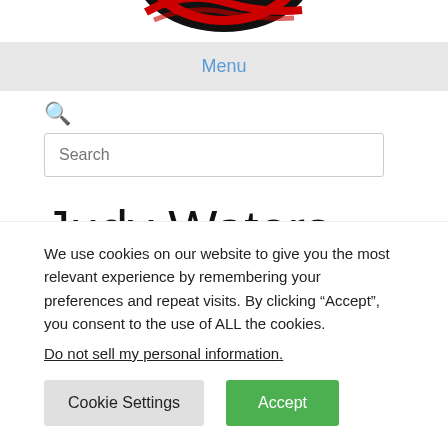[Figure (logo): Partial logo at top of page — circular shape with red and black colors, partially cropped]
Menu
Search
Judy Waters Ep2
We use cookies on our website to give you the most relevant experience by remembering your preferences and repeat visits. By clicking “Accept”, you consent to the use of ALL the cookies.
Do not sell my personal information.
Cookie Settings
Accept